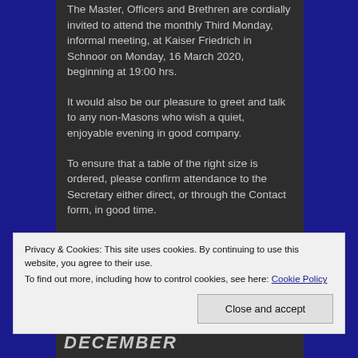The Master, Officers and Brethren are cordially invited to attend the monthly Third Monday, informal meeting, at Kaiser Friedrich in Schnoor on Monday, 16 March 2020, beginning at 19:00 hrs.
It would also be our pleasure to greet and talk to any non-Masons who wish a quiet, enjoyable evening in good company.
To ensure that a table of the right size is ordered, please confirm attendance to the Secretary either direct, or through the Contact form, in good time.
Privacy & Cookies: This site uses cookies. By continuing to use this website, you agree to their use. To find out more, including how to control cookies, see here: Cookie Policy
Close and accept
DECEMBER